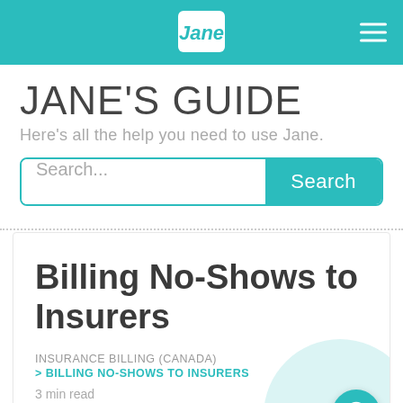Jane — Jane's Guide
JANE'S GUIDE
Here's all the help you need to use Jane.
Search...
Billing No-Shows to Insurers
INSURANCE BILLING (CANADA)
> BILLING NO-SHOWS TO INSURERS
3 min read
Jane doesn't allow Insurers to pick up the balance